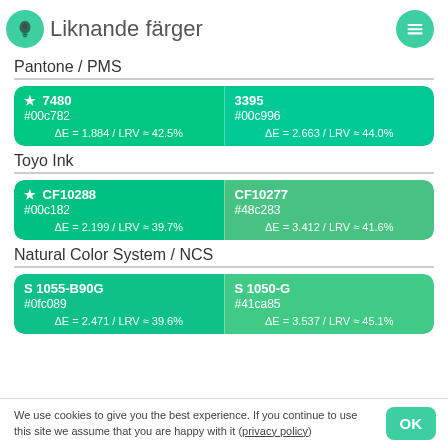Liknande färger
Pantone / PMS
[Figure (infographic): Two color swatches side by side: left is #00c782 labeled 7480 with star, ΔE = 1.884 / LRV ≈ 42.5%; right is #00c996 labeled 3395, ΔE = 2.663 / LRV ≈ 44.0%]
Toyo Ink
[Figure (infographic): Two color swatches side by side: left is #00c182 labeled CF10288 with star, ΔE = 2.199 / LRV ≈ 39.7%; right is #48c283 labeled CF10277, ΔE = 3.412 / LRV ≈ 41.6%]
Natural Color System / NCS
[Figure (infographic): Two color swatches side by side: left is #0fc089 labeled S 1055-B90G, ΔE = 2.471 / LRV ≈ 39.6%; right is #41ca85 labeled S 1050-G, ΔE = 3.537 / LRV ≈ 45.1%]
We use cookies to give you the best experience. If you continue to use this site we assume that you are happy with it (privacy policy)